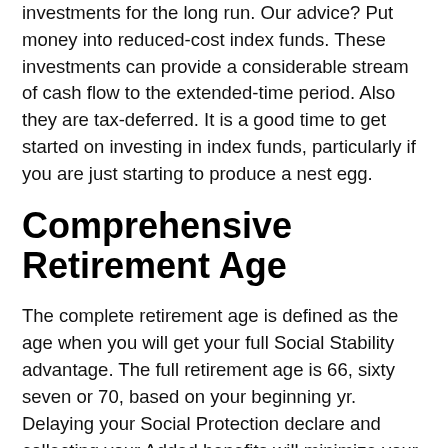investments for the long run. Our advice? Put money into reduced-cost index funds. These investments can provide a considerable stream of cash flow to the extended-time period. Also they are tax-deferred. It is a good time to get started on investing in index funds, particularly if you are just starting to produce a nest egg.
Comprehensive Retirement Age
The complete retirement age is defined as the age when you will get your full Social Stability advantage. The full retirement age is 66, sixty seven or 70, based on your beginning yr. Delaying your Social Protection declare and collecting your Added benefits will minimize your regular monthly payment, nevertheless the Strengthen will keep on being till your 70th birthday. Here are three explanation why you should wait right up until your entire retirement age. Please read on to find out additional. But 1st, let us clarify